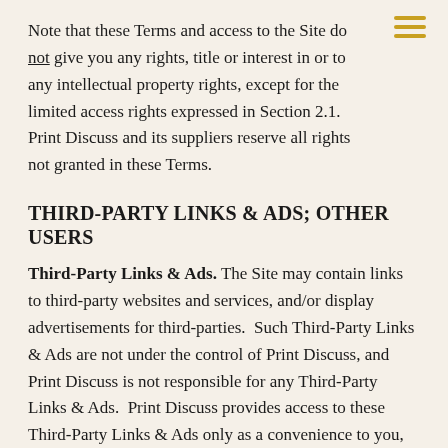Note that these Terms and access to the Site do not give you any rights, title or interest in or to any intellectual property rights, except for the limited access rights expressed in Section 2.1. Print Discuss and its suppliers reserve all rights not granted in these Terms.
THIRD-PARTY LINKS & ADS; OTHER USERS
Third-Party Links & Ads. The Site may contain links to third-party websites and services, and/or display advertisements for third-parties.  Such Third-Party Links & Ads are not under the control of Print Discuss, and Print Discuss is not responsible for any Third-Party Links & Ads.  Print Discuss provides access to these Third-Party Links & Ads only as a convenience to you, and does not review, approve,